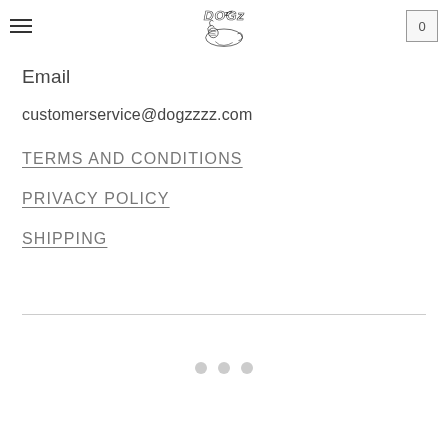[hamburger menu] [Dogzzzz logo] [cart: 0]
Email
customerservice@dogzzzz.com
TERMS AND CONDITIONS
PRIVACY POLICY
SHIPPING